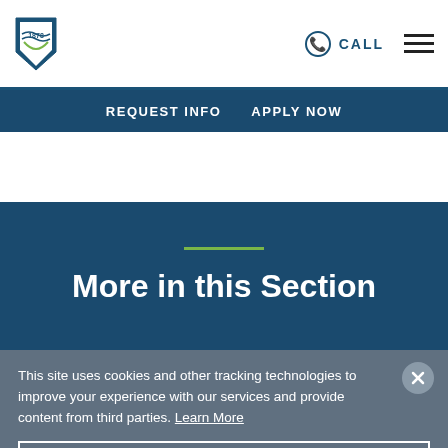University logo | CALL | hamburger menu
REQUEST INFO   APPLY NOW
More in this Section
This site uses cookies and other tracking technologies to improve your experience with our services and provide content from third parties. Learn More
✓ ACCEPT COOKIES